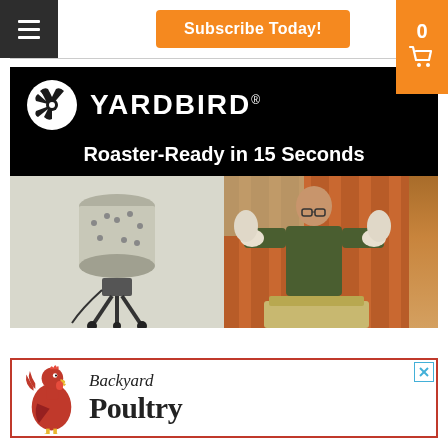Subscribe Today!
[Figure (photo): Yardbird advertisement: black background with Yardbird logo and tagline 'Roaster-Ready in 15 Seconds', showing a mechanical chicken plucker machine on the left and a man holding chickens on the right]
[Figure (logo): Backyard Poultry magazine advertisement with red rooster logo and text 'Backyard Poultry']